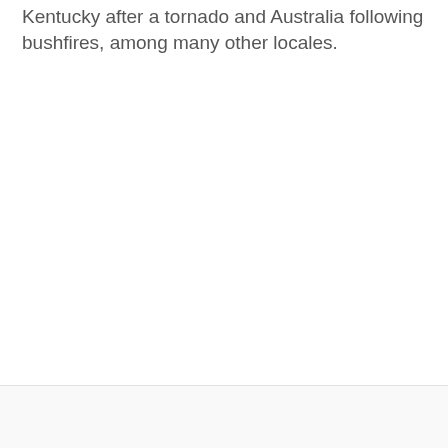Kentucky after a tornado and Australia following bushfires, among many other locales.